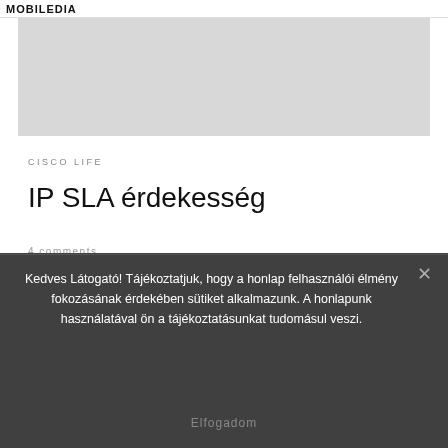MOBILEDIA
[Figure (other): Grey advertisement banner placeholder]
CISCO LIFE
IP SLA érdekesség
4 comments
ip sla
by Kuris Ferenc
Published 2012.09.19
Kedves Látogató! Tájékoztatjuk, hogy a honlap felhasználói élmény fokozásának érdekében sütiket alkalmazunk. A honlapunk használatával ön a tájékoztatásunkat tudomásul veszi.
Elfogadom